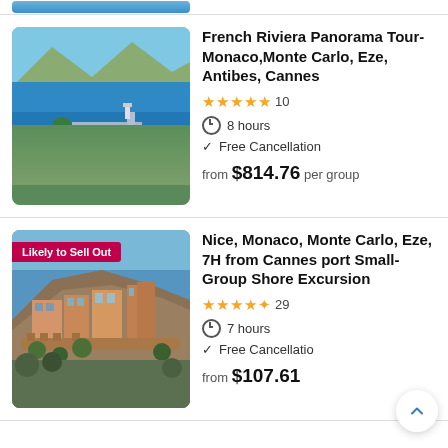[Figure (photo): Aerial view of French Riviera coastline with blue water, marina, and city]
French Riviera Panorama Tour- Monaco,Monte Carlo, Eze, Antibes, Cannes
★★★★★ 10
8 hours
Free Cancellation
from $814.76 per group
[Figure (photo): Monaco/Monte Carlo old town perched on rocky cliffs with red-roofed buildings and sea in background. Badge: Likely to Sell Out]
Nice, Monaco, Monte Carlo, Eze, 7H from Cannes port Small-Group Shore Excursion
★★★★½ 29
7 hours
Free Cancellation
from $107.61